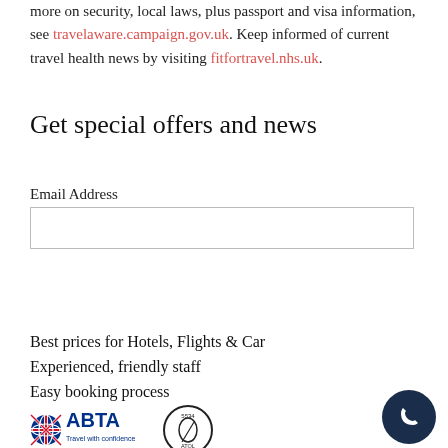more on security, local laws, plus passport and visa information, see travelaware.campaign.gov.uk. Keep informed of current travel health news by visiting fitfortravel.nhs.uk.
Get special offers and news
Email Address
Subscribe
Best prices for Hotels, Flights & Car
Experienced, friendly staff
Easy booking process
[Figure (logo): ABTA Travel with confidence logo and ATOL Protected logo]
[Figure (other): Dark navy phone call button circle icon]